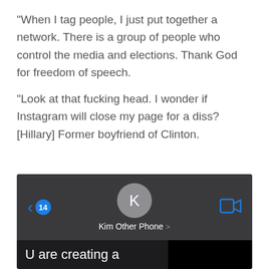“When I tag people, I just put together a network. There is a group of people who control the media and elections. Thank God for freedom of speech.

“Look at that fucking head. I wonder if Instagram will close my page for a diss? [Hillary] Former boyfriend of Clinton.
[Figure (screenshot): Screenshot of an iPhone Messages app header showing contact 'Kim Other Phone' with back arrow showing 14 unread messages, a gray avatar with letter K, and video call icon. Below is a partial message reading 'U are creating a'.]